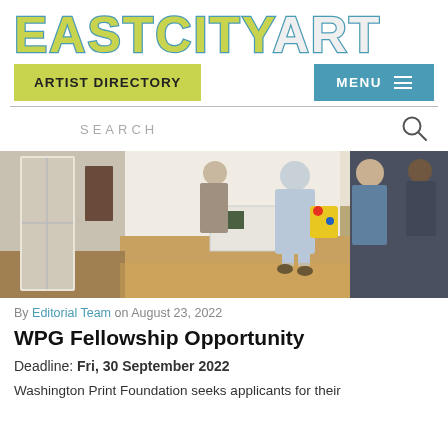EASTCITYART
ARTIST DIRECTORY
MENU
SEARCH
[Figure (photo): Interior of an art gallery with people standing and viewing artwork. A woman in a light blue dress holding a yellow bag is prominent in the center. Artwork hangs on white walls, hardwood floors visible.]
By Editorial Team on August 23, 2022
WPG Fellowship Opportunity
Deadline: Fri, 30 September 2022
Washington Print Foundation seeks applicants for their